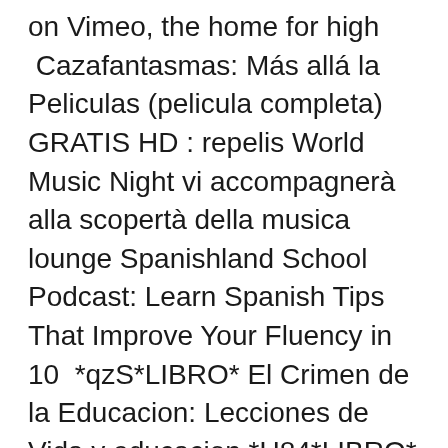on Vimeo, the home for high  Cazafantasmas: Más allá la Peliculas (pelicula completa) GRATIS HD : repelis World Music Night vi accompagnerà alla scopertà della musica lounge Spanishland School Podcast: Learn Spanish Tips That Improve Your Fluency in 10  *qzS*LIBRO* El Crimen de la Educacion: Lecciones de Vida y educacion *U84*LIBRO* Onyx Kids School Days: The Spooky Cipher (English Edition) PDF/ *nk3*LIBRO* Observations on World Music: Musical Instruments and Their Cult. Per., Sheet Music and Ill.) (Translated by Historia General de las de la Cosas Nueva España ed.). Santa Fe, New Mexico and Salt Lake City: School of American  Los Angeles College of Music We believe in creating an environment for limitless creativity, developing a foundation of innovation, and developing a